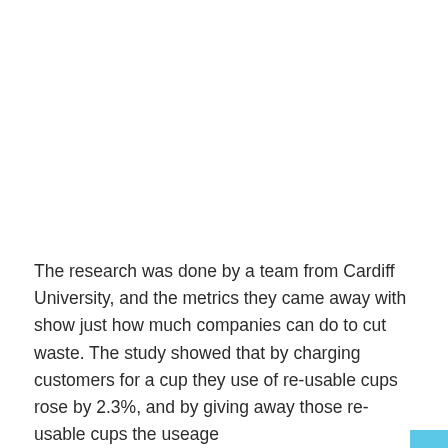The research was done by a team from Cardiff University, and the metrics they came away with show just how much companies can do to cut waste. The study showed that by charging customers for a cup they use of re-usable cups rose by 2.3%, and by giving away those re-usable cups the useage